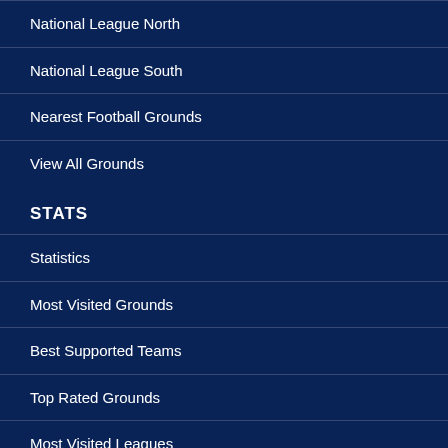National League North
National League South
Nearest Football Grounds
View All Grounds
STATS
Statistics
Most Visited Grounds
Best Supported Teams
Top Rated Grounds
Most Visited Leagues
Top Fans